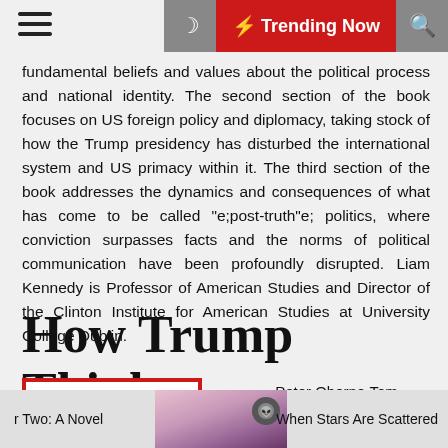Trending Now
fundamental beliefs and values about the political process and national identity. The second section of the book focuses on US foreign policy and diplomacy, taking stock of how the Trump presidency has disturbed the international system and US primacy within it. The third section of the book addresses the dynamics and consequences of what has come to be called "e;post-truth"e; politics, where conviction surpasses facts and the norms of political communication have been profoundly disrupted. Liam Kennedy is Professor of American Studies and Director of the Clinton Institute for American Studies at University College Dublin.
How Trump Thinks
| Field | Value |
| --- | --- |
| Author: | Peter Oborne,Tom Roberts |
| Editor: | Head of Zeus Ltd |
| ISBN: | 1786696649 |
r Two: A Novel   When Stars Are Scattered